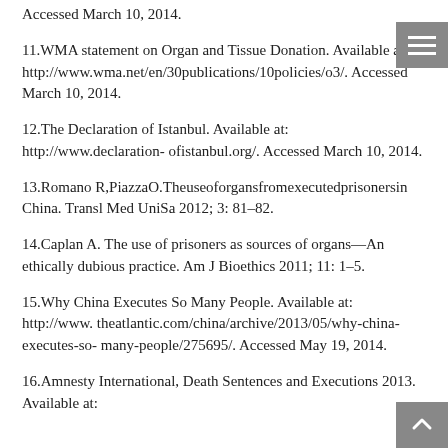Accessed March 10, 2014.
11.WMA statement on Organ and Tissue Donation. Available at: http://www.wma.net/en/30publications/10policies/o3/. Accessed March 10, 2014.
12.The Declaration of Istanbul. Available at: http://www.declaration- ofistanbul.org/. Accessed March 10, 2014.
13.Romano R,PiazzaO.Theuseoforgansfromexecutedprisonersin China. Transl Med UniSa 2012; 3: 81–82.
14.Caplan A. The use of prisoners as sources of organs—An ethically dubious practice. Am J Bioethics 2011; 11: 1–5.
15.Why China Executes So Many People. Available at: http://www. theatlantic.com/china/archive/2013/05/why-china-executes-so- many-people/275695/. Accessed May 19, 2014.
16.Amnesty International, Death Sentences and Executions 2013. Available at: